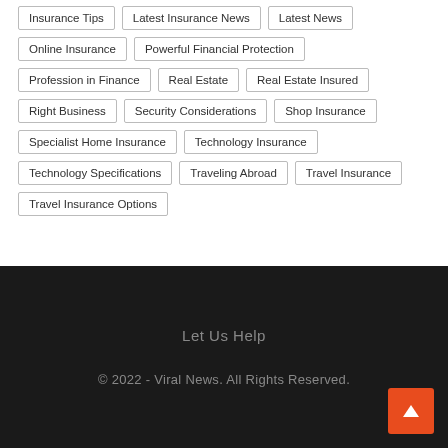Insurance Tips
Latest Insurance News
Latest News
Online Insurance
Powerful Financial Protection
Profession in Finance
Real Estate
Real Estate Insured
Right Business
Security Considerations
Shop Insurance
Specialist Home Insurance
Technology Insurance
Technology Specifications
Traveling Abroad
Travel Insurance
Travel Insurance Options
Let Us Help
© 2022 - Viral News. All Rights Reserved.